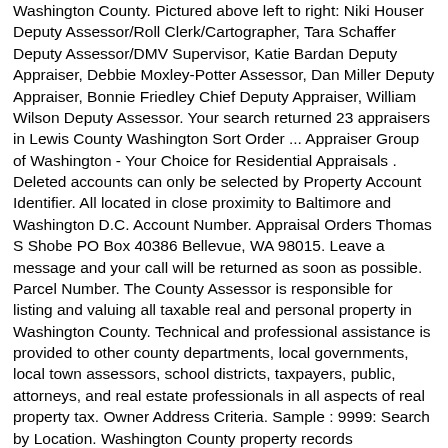Washington County. Pictured above left to right: Niki Houser Deputy Assessor/Roll Clerk/Cartographer, Tara Schaffer Deputy Assessor/DMV Supervisor, Katie Bardan Deputy Appraiser, Debbie Moxley-Potter Assessor, Dan Miller Deputy Appraiser, Bonnie Friedley Chief Deputy Appraiser, William Wilson Deputy Assessor. Your search returned 23 appraisers in Lewis County Washington Sort Order ... Appraiser Group of Washington - Your Choice for Residential Appraisals . Deleted accounts can only be selected by Property Account Identifier. All located in close proximity to Baltimore and Washington D.C. Account Number. Appraisal Orders Thomas S Shobe PO Box 40386 Bellevue, WA 98015. Leave a message and your call will be returned as soon as possible. Parcel Number. The County Assessor is responsible for listing and valuing all taxable real and personal property in Washington County. Technical and professional assistance is provided to other county departments, local governments, local town assessors, school districts, taxpayers, public, attorneys, and real estate professionals in all aspects of real property tax. Owner Address Criteria. Sample : 9999: Search by Location. Washington County property records